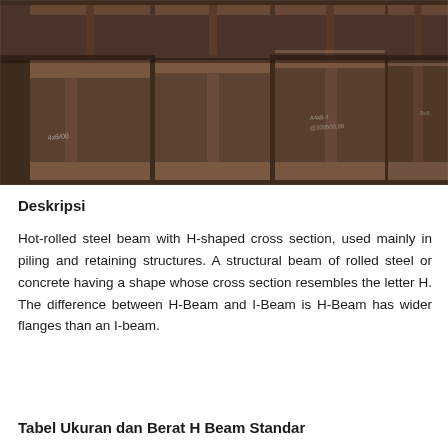[Figure (photo): Stacked hot-rolled H-beam steel sections viewed from the end, showing the H-shaped cross sections. The beams are dark brownish-grey with visible labeling marks. Multiple beams are arranged in rows.]
Deskripsi
Hot-rolled steel beam with H-shaped cross section, used mainly in piling and retaining structures. A structural beam of rolled steel or concrete having a shape whose cross section resembles the letter H. The difference between H-Beam and I-Beam is H-Beam has wider flanges than an I-beam.
Tabel Ukuran dan Berat H Beam Standar